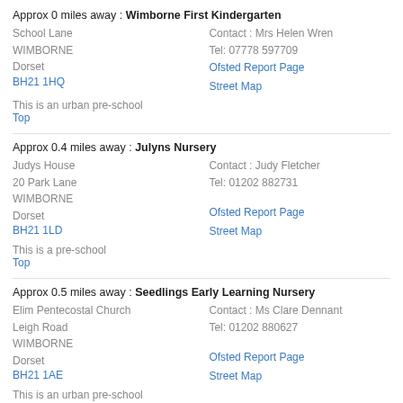Approx 0 miles away : Wimborne First Kindergarten
School Lane
WIMBORNE
Dorset
BH21 1HQ | Contact : Mrs Helen Wren
Tel: 07778 597709
Ofsted Report Page
Street Map
This is an urban pre-school
Top
Approx 0.4 miles away : Julyns Nursery
Judys House
20 Park Lane
WIMBORNE
Dorset
BH21 1LD | Contact : Judy Fletcher
Tel: 01202 882731
Ofsted Report Page
Street Map
This is a pre-school
Top
Approx 0.5 miles away : Seedlings Early Learning Nursery
Elim Pentecostal Church
Leigh Road
WIMBORNE
Dorset
BH21 1AE | Contact : Ms Clare Dennant
Tel: 01202 880627
Ofsted Report Page
Street Map
This is an urban pre-school
Top